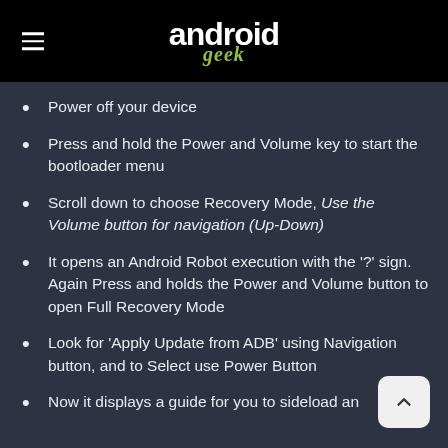android geek
Power off your device
Press and hold the Power and Volume key to start the bootloader menu
Scroll down to choose Recovery Mode, Use the Volume button for navigation (Up-Down)
It opens an Android Robot execution with the '?' sign. Again Press and holds the Power and Volume button to open Full Recovery Mode
Look for 'Apply Update from ADB' using Navigation button, and to Select use Power Button
Now it displays a guide for you to sideload an